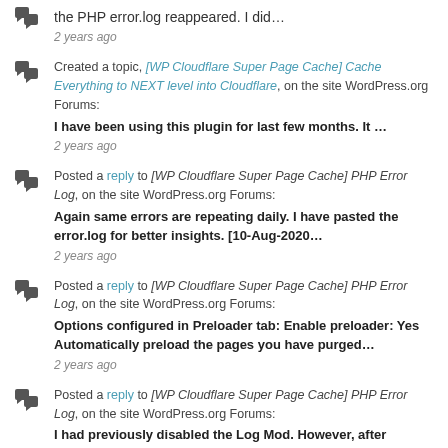the PHP error.log reappeared. I did…
2 years ago
Created a topic, [WP Cloudflare Super Page Cache] Cache Everything to NEXT level into Cloudflare, on the site WordPress.org Forums:
I have been using this plugin for last few months. It …
2 years ago
Posted a reply to [WP Cloudflare Super Page Cache] PHP Error Log, on the site WordPress.org Forums:
Again same errors are repeating daily. I have pasted the error.log for better insights. [10-Aug-2020…
2 years ago
Posted a reply to [WP Cloudflare Super Page Cache] PHP Error Log, on the site WordPress.org Forums:
Options configured in Preloader tab: Enable preloader: Yes Automatically preload the pages you have purged…
2 years ago
Posted a reply to [WP Cloudflare Super Page Cache] PHP Error Log, on the site WordPress.org Forums:
I had previously disabled the Log Mod. However, after